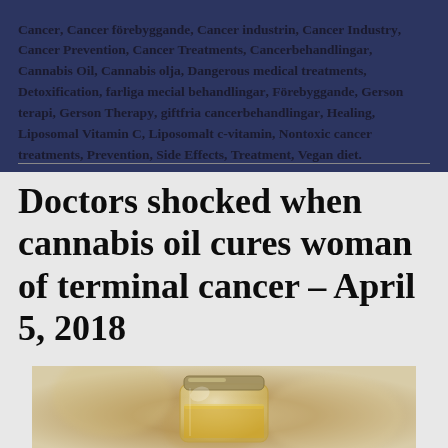Cancer, Cancer förebyggande, Cancer industrin, Cancer Industry, Cancer Prevention, Cancer Treatments, Cancerbehandlingar, Cannabis Oil, Cannabis olja, Dangerous medical treatments, Detoxification, farliga mecial behandlingar, Förebyggande, Gerson terapi, Gerson Therapy, giftfria cancerbehandlingar, Healing, Liposomal Vitamin C, Liposomalt c-vitamin, Nontoxic cancer treatments, Prevention, Side Effects, Treatment, Vegan diet.
Doctors shocked when cannabis oil cures woman of terminal cancer – April 5, 2018
[Figure (photo): Close-up photo of a small glass jar with golden/amber oil, set against a blurred warm beige/brown background]